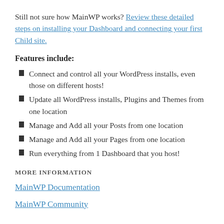Still not sure how MainWP works? Review these detailed steps on installing your Dashboard and connecting your first Child site.
Features include:
Connect and control all your WordPress installs, even those on different hosts!
Update all WordPress installs, Plugins and Themes from one location
Manage and Add all your Posts from one location
Manage and Add all your Pages from one location
Run everything from 1 Dashboard that you host!
MORE INFORMATION
MainWP Documentation
MainWP Community